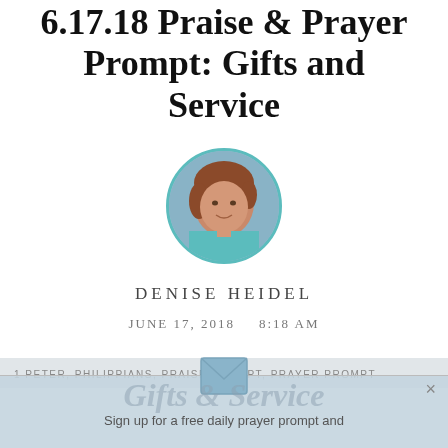6.17.18 Praise & Prayer Prompt: Gifts and Service
[Figure (photo): Circular profile photo of Denise Heidel with teal/cyan border]
DENISE HEIDEL
JUNE 17, 2018    8:18 AM
1 PETER, PHILIPPIANS, PRAISE PROMPT, PRAYER PROMPT
[Figure (infographic): Email signup popup overlay with envelope icon, close button, decorative script text 'Gifts & Service', and text 'Sign up for a free daily prayer prompt and']